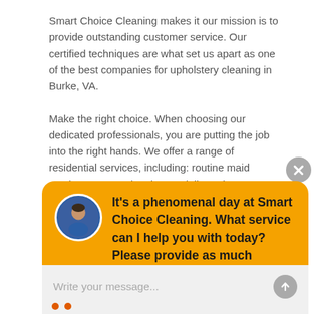Smart Choice Cleaning makes it our mission is to provide outstanding customer service. Our certified techniques are what set us apart as one of the best companies for upholstery cleaning in Burke, VA.

Make the right choice. When choosing our dedicated professionals, you are putting the job into the right hands. We offer a range of residential services, including: routine maid services, carpet cleaning, and tile and grout
[Figure (screenshot): Chat widget with orange background showing an avatar photo of a man and the message: It's a phenomenal day at Smart Choice Cleaning. What service can I help you with today? Please provide as much information as possible. Below is an input field with placeholder 'Write your message...']